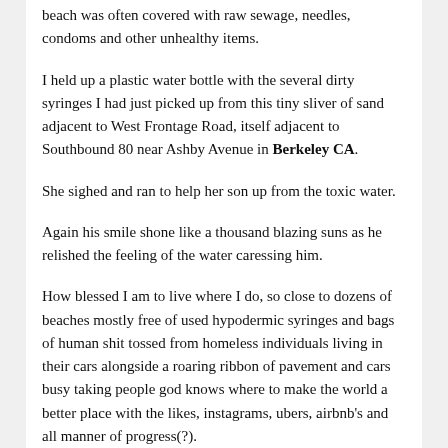beach was often covered with raw sewage, needles, condoms and other unhealthy items.
I held up a plastic water bottle with the several dirty syringes I had just picked up from this tiny sliver of sand adjacent to West Frontage Road, itself adjacent to Southbound 80 near Ashby Avenue in Berkeley CA.
She sighed and ran to help her son up from the toxic water.
Again his smile shone like a thousand blazing suns as he relished the feeling of the water caressing him.
How blessed I am to live where I do, so close to dozens of beaches mostly free of used hypodermic syringes and bags of human shit tossed from homeless individuals living in their cars alongside a roaring ribbon of pavement and cars busy taking people god knows where to make the world a better place with the likes, instagrams, ubers, airbnb's and all manner of progress(?).